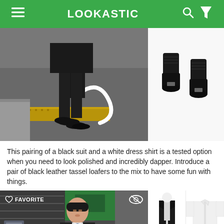LOOKASTIC
[Figure (photo): Man in black suit and black leather tassel loafers walking on a street with yellow tactile paving]
[Figure (photo): Black dress socks product thumbnail]
This pairing of a black suit and a white dress shirt is a tested option when you need to look polished and incredibly dapper. Introduce a pair of black leather tassel loafers to the mix to have some fun with things.
[Figure (photo): Man in dark suit standing in front of a building, with FAVORITE overlay and eye icon]
[Figure (photo): Black suit product thumbnail]
[Figure (photo): White dress shirt product thumbnail]
[Figure (photo): Blue patterned tie product thumbnail]